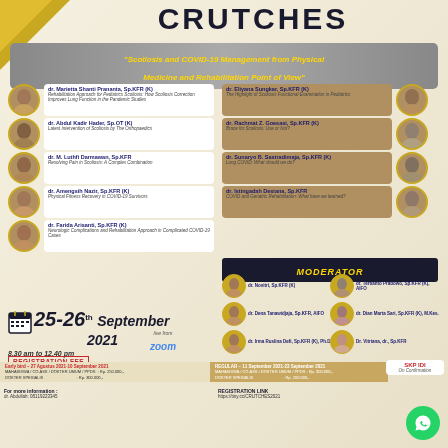CRUTCHES
Current Rehabilitation Update in Daily Practices for General Practitioner
"Scoliosis and COVID-19 Management from Physical Medicine and Rehabilitation Point of View"
dr. Marietta Shanti Prananta, Sp.KFR (K) - Rehabilitation Approach for Pediatrics Scoliosis: How Scoliosis Correction Improves Lung Function in the Pandemic Studies
dr. Eliyana Sungkar, Sp.KFR (K) - The Highlight of Scoliosis Functional Examination in Pediatrics
dr. Abdul Kadir Hader, Sp.OT (K) - Latest Intervention of Scoliosis by The Orthopaedics
dr. Rachmat Z. Goesasi, Sp.KFR (K) - Brace for Scoliosis: Use or Not?
dr. M. Luthfi Darmawan, Sp.KFR - Resolving Pain in Scoliosis: A Complex Combination
dr. Sunaryo B. Sastradimaja, Sp.KFR (K) - Long COVID: What should we do?
dr. Amengsih Nazir, Sp.KFR (K) - Physical Fitness Recovery in COVID-19 Survivors
dr. Istingadah Desiana, Sp.KFR - COVID and Geriatric Rehabilitation: What have we learned?
dr. Farida Arisanti, Sp.KFR (K) - Neurologic Complications and Rehabilitation Approach in Complicated COVID-19 Cases
MODERATOR
dr. Novitri, Sp.KFR (K)
dr. Tertianto Prabowo, Sp.KFR (K), AIFO
dr. Dena Tanawidjaja, Sp.KFR, AIFO
dr. Dian Marta Sari, Sp.KFR (K), M.Kes.
dr. Irma Ruslina Defi, Sp.KFR (K), Ph.D
Dr. Vitriana, dr., Sp.KFR
25-26th September 2021
8.30 am to 12.40 pm
live from zoom
REGISTRATION FEE
Early bird – 27 Agustus 2021-10 September 2021
MAHASISWA / CO.ASS / DOKTER UMUM / PPDS : Rp. 250.000,-
DOKTER SPESIALIS : Rp. 300.000,-
REGULAR – 11 September 2021-23 September 2021
MAHASISWA / CO.ASS / DOKTER UMUM / PPDS : Rp. 300.000,-
DOKTER SPESIALIS : Rp. 200.000,-
SKP IDI On Confirmation
For more information:
dr. Abdullah: 08119223345
REGISTRATION LINK
https://tiny.cc/CRUTCHES2021